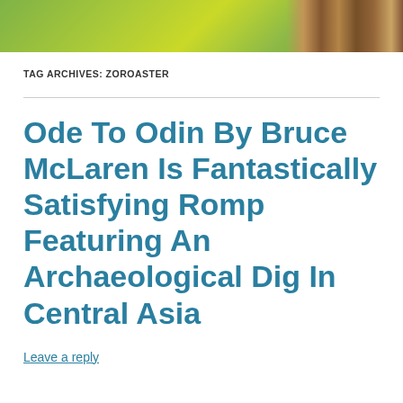[Figure (photo): Header image showing yellow flowers/plants and books with colorful spines on the right side]
TAG ARCHIVES: ZOROASTER
Ode To Odin By Bruce McLaren Is Fantastically Satisfying Romp Featuring An Archaeological Dig In Central Asia
Leave a reply